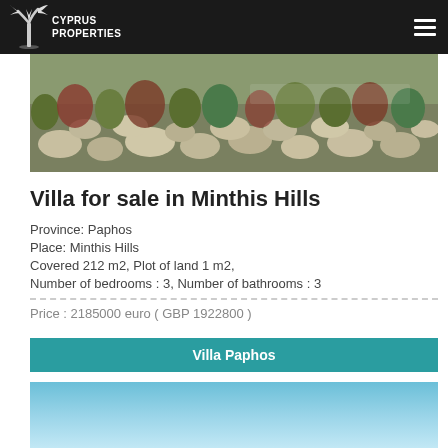Cyprus Properties
[Figure (photo): Outdoor stone wall with Mediterranean plants and shrubs]
Villa for sale in Minthis Hills
Province: Paphos
Place: Minthis Hills
Covered 212 m2, Plot of land 1 m2,
Number of bedrooms : 3, Number of bathrooms : 3
Price : 2185000 euro ( GBP 1922800 )
Villa Paphos
[Figure (photo): Sky blue gradient, beginning of another property photo]